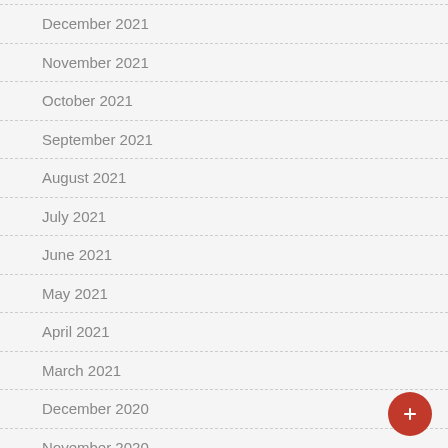December 2021
November 2021
October 2021
September 2021
August 2021
July 2021
June 2021
May 2021
April 2021
March 2021
December 2020
November 2020